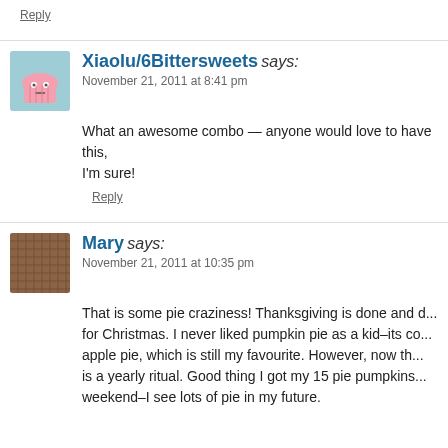Reply
[Figure (illustration): Avatar image for Xiaolu/6Bittersweets - cartoon cupcake face on teal/blue background]
Xiaolu/6Bittersweets says: November 21, 2011 at 8:41 pm
What an awesome combo — anyone would love to have this, I'm sure!
Reply
[Figure (illustration): Avatar image for Mary - brown woven/textured square]
Mary says: November 21, 2011 at 10:35 pm
That is some pie craziness! Thanksgiving is done and d... for Christmas. I never liked pumpkin pie as a kid–its c... apple pie, which is still my favourite. However, now th... is a yearly ritual. Good thing I got my 15 pie pumpkins... weekend–I see lots of pie in my future.